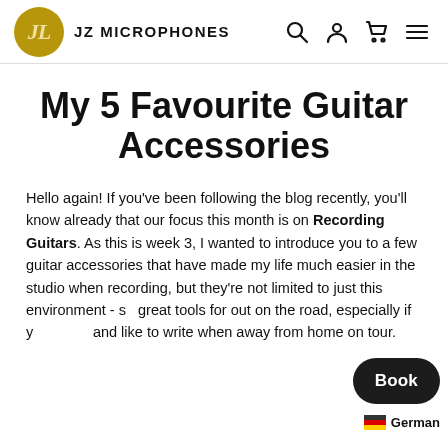JZ MICROPHONES
My 5 Favourite Guitar Accessories
Hello again! If you've been following the blog recently, you'll know already that our focus this month is on Recording Guitars. As this is week 3, I wanted to introduce you to a few guitar accessories that have made my life much easier in the studio when recording, but they're not limited to just this environment - so great tools for out on the road, especially if y… and like to write when away from home on tour.